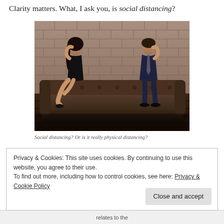Clarity matters. What, I ask you, is social distancing?
[Figure (photo): A man and woman sitting far apart on a dark leather Chesterfield sofa against a brick wall background, looking away from each other. The woman on the left wears a black dress, the man on the right wears a dark suit.]
Social distancing? Or is it really physical distancing?
Privacy & Cookies: This site uses cookies. By continuing to use this website, you agree to their use.
To find out more, including how to control cookies, see here: Privacy & Cookie Policy
Close and accept
relates to the